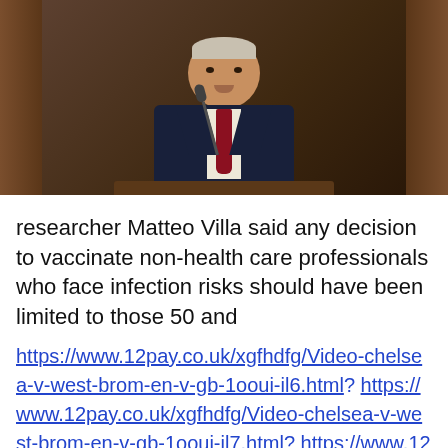[Figure (photo): A man in a dark suit with a red tie speaking at a podium with a microphone, in what appears to be a formal chamber with wood paneling in the background.]
researcher Matteo Villa said any decision to vaccinate non-health care professionals who face infection risks should have been limited to those 50 and
https://www.12pay.co.uk/xgfhdfg/Video-chelsea-v-west-brom-en-v-gb-1ooui-il6.html? https://www.12pay.co.uk/xgfhdfg/Video-chelsea-v-west-brom-en-v-gb-1ooui-il7.html? https://www.12pay.co.uk/xgfhdfg/Video-chelsea-v-west-brom-en-v-gb-1ooui-il8.html? https://www.12pay.co.uk/xgfhdfg/Video-chelsea-v-west-brom-en-v-gb-1ooui-il9.html?